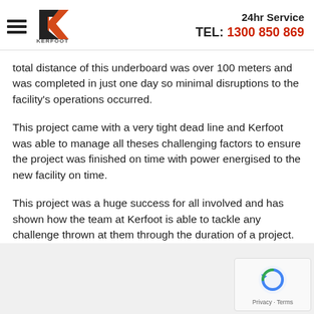Kerfoot — 24hr Service TEL: 1300 850 869
total distance of this underboard was over 100 meters and was completed in just one day so minimal disruptions to the facility's operations occurred.
This project came with a very tight dead line and Kerfoot was able to manage all theses challenging factors to ensure the project was finished on time with power energised to the new facility on time.
This project was a huge success for all involved and has shown how the team at Kerfoot is able to tackle any challenge thrown at them through the duration of a project.
[Figure (logo): reCAPTCHA logo with Privacy and Terms text]